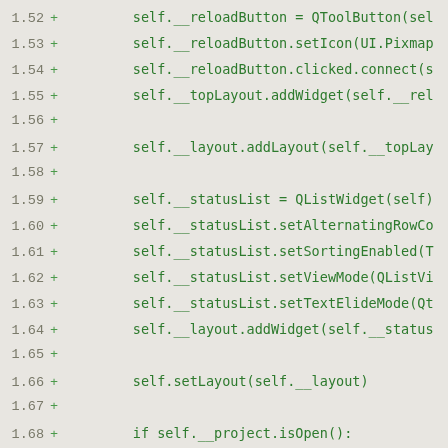Diff code view showing lines 1.52–1.71+ with Python/Qt code additions
1.52 + self.__reloadButton = QToolButton(sel
1.53 + self.__reloadButton.setIcon(UI.Pixmap
1.54 + self.__reloadButton.clicked.connect(s
1.55 + self.__topLayout.addWidget(self.__rel
1.56 +
1.57 + self.__layout.addLayout(self.__topLay
1.58 +
1.59 + self.__statusList = QListWidget(self)
1.60 + self.__statusList.setAlternatingRowCo
1.61 + self.__statusList.setSortingEnabled(T
1.62 + self.__statusList.setViewMode(QListVi
1.63 + self.__statusList.setTextElideMode(Qt
1.64 + self.__layout.addWidget(self.__status
1.65 +
1.66 + self.setLayout(self.__layout)
1.67 +
1.68 + if self.__project.isOpen():
1.69 + self.__projectOpened()
1.70 + else:
1.71 + self.__projectClosed()